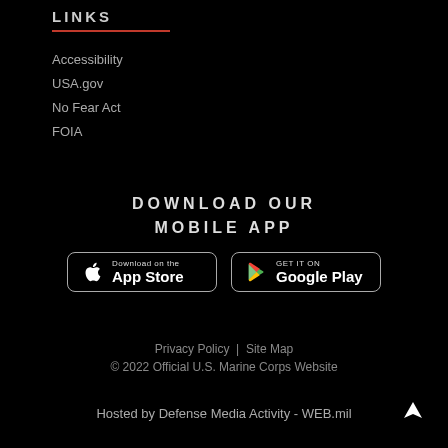LINKS
Accessibility
USA.gov
No Fear Act
FOIA
DOWNLOAD OUR MOBILE APP
[Figure (illustration): App Store and Google Play download buttons]
Privacy Policy | Site Map
© 2022 Official U.S. Marine Corps Website
Hosted by Defense Media Activity - WEB.mil